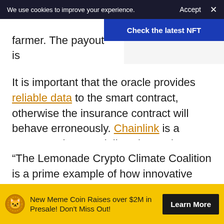We use cookies to improve your experience.  Accept  ×
[Figure (infographic): Blue banner overlay reading 'Check the latest NFT']
farmer. The payout is without human interv
It is important that the oracle provides reliable data to the smart contract, otherwise the insurance contract will behave erroneously. Chainlink is a company that specializes in oracles.
“The Lemonade Crypto Climate Coalition is a prime example of how innovative solutions built on the blockchain can drive global financial inclusion previously unavailable,” says
[Figure (infographic): Yellow advertisement banner: coin icon, text 'New Meme Coin Raises over $2M in Presale! Don’t Miss Out!', and a 'Learn More' button]